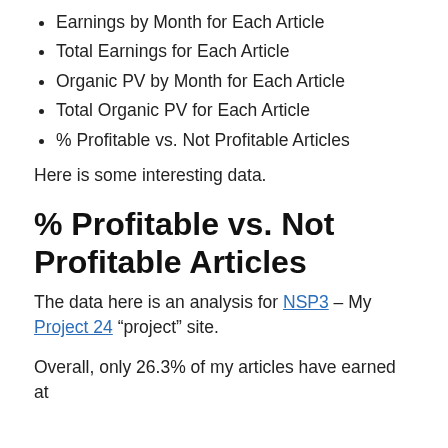Earnings by Month for Each Article
Total Earnings for Each Article
Organic PV by Month for Each Article
Total Organic PV for Each Article
% Profitable vs. Not Profitable Articles
Here is some interesting data.
% Profitable vs. Not Profitable Articles
The data here is an analysis for NSP3 – My Project 24 “project” site.
Overall, only 26.3% of my articles have earned at